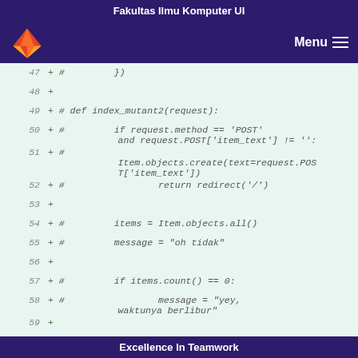Fakultas Ilmu Komputer UI
[Figure (logo): GitLab fox logo in orange on dark purple navigation bar with Menu hamburger icon]
47  +  #         })
48  +
49  +  # def index_mutant2(request):
50  +  #         if request.method == 'POST' and request.POST['item_text'] != '':
51  +  #         Item.objects.create(text=request.POST['item_text'])
52  +  #                 return redirect('/')
53  +
54  +  #         items = Item.objects.all()
55  +  #         message = "oh tidak"
56  +
57  +  #         if items.count() == 0:
58  +  #                 message = "yey, waktunya berlibur"
59  +
60  +  #         # !!! mutant of
Excellence In Teamwork